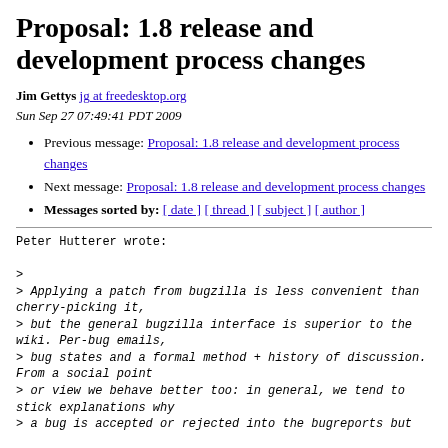Proposal: 1.8 release and development process changes
Jim Gettys jg at freedesktop.org
Sun Sep 27 07:49:41 PDT 2009
Previous message: Proposal: 1.8 release and development process changes
Next message: Proposal: 1.8 release and development process changes
Messages sorted by: [ date ] [ thread ] [ subject ] [ author ]
Peter Hutterer wrote:

>
> Applying a patch from bugzilla is less convenient than cherry-picking it,
> but the general bugzilla interface is superior to the wiki. Per-bug emails,
> bug states and a formal method + history of discussion. From a social point
> or view we behave better too: in general, we tend to stick explanations why
> a bug is accepted or rejected into the bugreports but